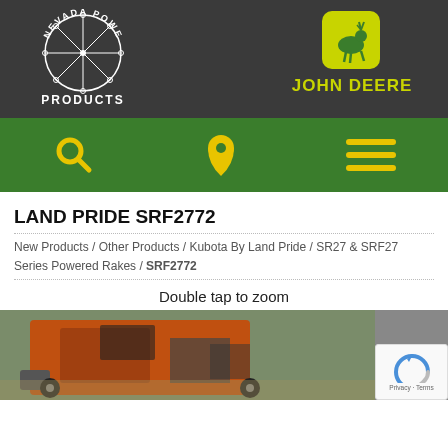[Figure (logo): Nevada Power Products logo - circular design with star/atomic pattern and text, on dark gray background]
[Figure (logo): John Deere logo - yellow leaping deer in rounded square, with JOHN DEERE text in yellow, on dark gray background]
[Figure (infographic): Green navigation bar with search icon (magnifying glass), location pin icon, and hamburger menu icon in yellow]
LAND PRIDE SRF2772
New Products / Other Products / Kubota By Land Pride / SR27 & SRF27 Series Powered Rakes / SRF2772
Double tap to zoom
[Figure (photo): Partial photo of orange Kubota tractor/equipment from above, on dirt/field background. A reCAPTCHA badge appears in the bottom right corner with Privacy - Terms text.]